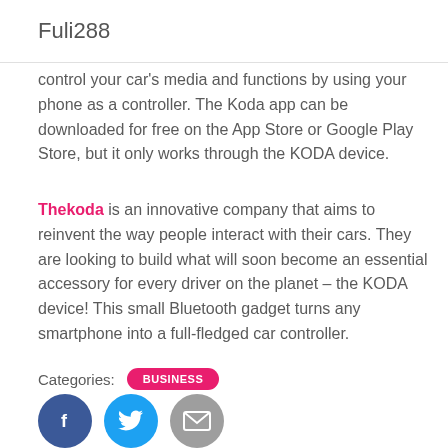Fuli288
control your car's media and functions by using your phone as a controller. The Koda app can be downloaded for free on the App Store or Google Play Store, but it only works through the KODA device.
Thekoda is an innovative company that aims to reinvent the way people interact with their cars. They are looking to build what will soon become an essential accessory for every driver on the planet – the KODA device! This small Bluetooth gadget turns any smartphone into a full-fledged car controller.
Categories: BUSINESS
[Figure (illustration): Social media icons: Facebook (blue circle with f), Twitter (teal circle with bird), Email (grey circle with envelope)]